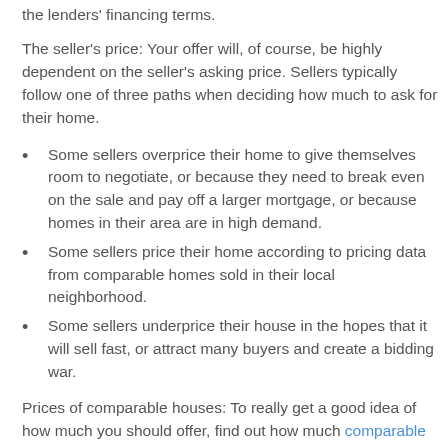the lenders' financing terms.
The seller's price: Your offer will, of course, be highly dependent on the seller's asking price. Sellers typically follow one of three paths when deciding how much to ask for their home.
Some sellers overprice their home to give themselves room to negotiate, or because they need to break even on the sale and pay off a larger mortgage, or because homes in their area are in high demand.
Some sellers price their home according to pricing data from comparable homes sold in their local neighborhood.
Some sellers underprice their house in the hopes that it will sell fast, or attract many buyers and create a bidding war.
Prices of comparable houses: To really get a good idea of how much you should offer, find out how much comparable